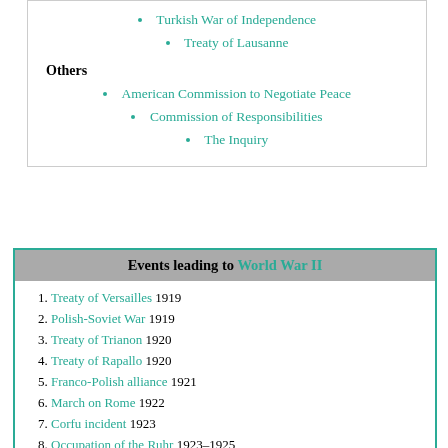Turkish War of Independence
Treaty of Lausanne
Others
American Commission to Negotiate Peace
Commission of Responsibilities
The Inquiry
Events leading to World War II
Treaty of Versailles 1919
Polish-Soviet War 1919
Treaty of Trianon 1920
Treaty of Rapallo 1920
Franco-Polish alliance 1921
March on Rome 1922
Corfu incident 1923
Occupation of the Ruhr 1923–1925
Mein Kampf 1925
Pacification of Libya 1923–1932